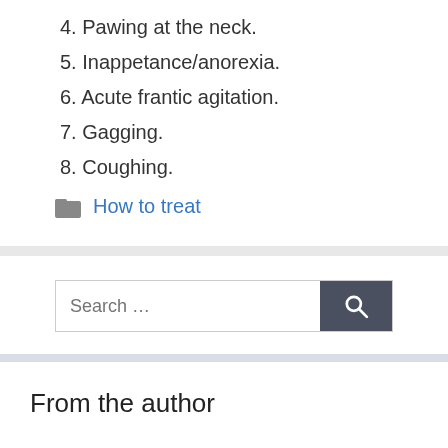4. Pawing at the neck.
5. Inappetance/anorexia.
6. Acute frantic agitation.
7. Gagging.
8. Coughing.
How to treat
[Figure (other): Search bar with search button]
From the author